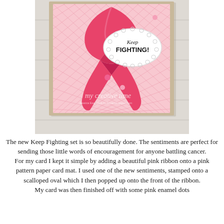[Figure (photo): A handmade greeting card featuring a pink awareness ribbon on pink gingham/diamond pattern paper card mat, with a scalloped oval label reading 'Keep FIGHTING!' stamped in script and bold text. Pink enamel dots accent the card. The card is photographed on a white wooden surface. Watermark reads 'my creative time' with a URL below.]
The new Keep Fighting set is so beautifully done. The sentiments are perfect for sending those little words of encouragement for anyone battling cancer. For my card I kept it simple by adding a beautiful pink ribbon onto a pink pattern paper card mat. I used one of the new sentiments, stamped onto a scalloped oval which I then popped up onto the front of the ribbon. My card was then finished off with some pink enamel dots